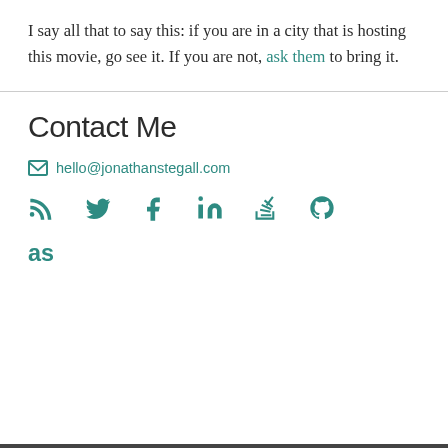I say all that to say this: if you are in a city that is hosting this movie, go see it. If you are not, ask them to bring it.
Contact Me
hello@jonathanstegall.com
[Figure (infographic): Row of social media icons: RSS, Twitter, Facebook, LinkedIn, Stack Overflow, GitHub, and Last.fm icons in teal color]